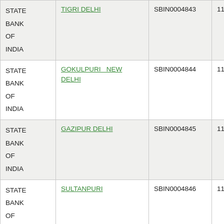| Bank | Branch | IFSC | MICR |
| --- | --- | --- | --- |
| STATE BANK OF INDIA | TIGRI DELHI | SBIN0004843 | 110002124 |
| STATE BANK OF INDIA | GOKULPURI NEW DELHI | SBIN0004844 | 110002041 |
| STATE BANK OF INDIA | GAZIPUR DELHI | SBIN0004845 | 110002039 |
| STATE BANK OF INDIA | SULTANPURI | SBIN0004846 | 110002123 |
| STATE BANK OF INDIA | NANGLI | SBIN0004848 | 110002083 |